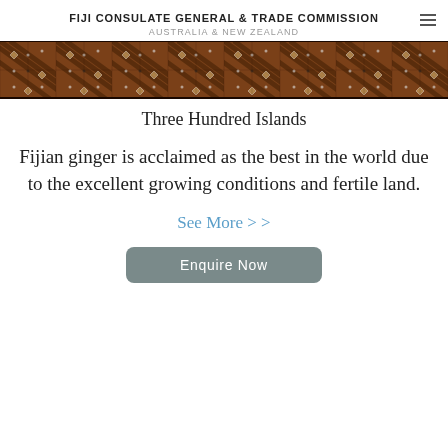FIJI CONSULATE GENERAL & TRADE COMMISSION
AUSTRALIA & NEW ZEALAND
[Figure (illustration): Decorative Fijian textile/tapa cloth pattern banner — repeating geometric diagonal pattern in brown, black and white across full width]
Three Hundred Islands
Fijian ginger is acclaimed as the best in the world due to the excellent growing conditions and fertile land.
See More > >
Enquire Now